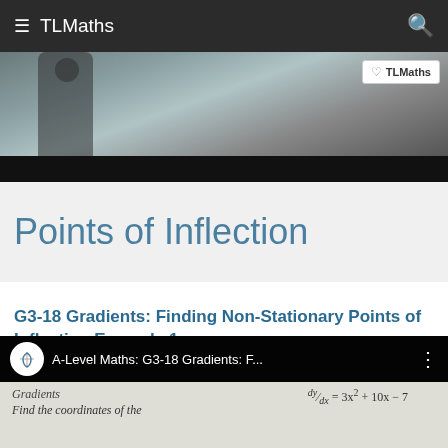≡  TLMaths
[Figure (screenshot): Partial video thumbnail showing a person near a whiteboard, with TLMaths badge overlay and black bar below]
Points of Inflection
G3-18 Gradients: Finding Non-Stationary Points of Inflection Example 1
[Figure (screenshot): YouTube video thumbnail showing TLMaths logo and title 'A-Level Maths: G3-18 Gradients: F...' with handwritten maths on whiteboard showing dy/dx = 3x^2 + 10x - 7]